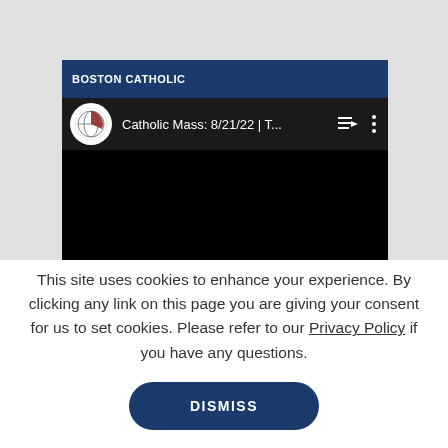[Figure (screenshot): YouTube embedded video player showing Boston Catholic channel with video title 'Catholic Mass: 8/21/22 | T...' on a dark background]
This site uses cookies to enhance your experience. By clicking any link on this page you are giving your consent for us to set cookies. Please refer to our Privacy Policy if you have any questions.
DISMISS